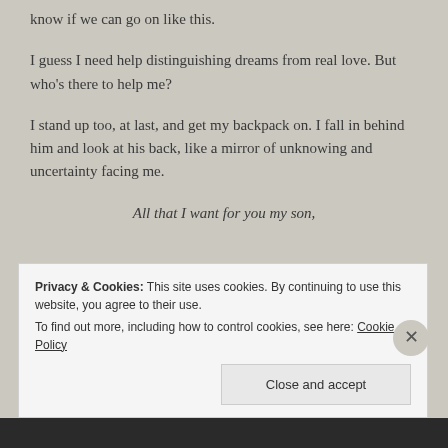know if we can go on like this.
I guess I need help distinguishing dreams from real love. But who's there to help me?
I stand up too, at last, and get my backpack on. I fall in behind him and look at his back, like a mirror of unknowing and uncertainty facing me.
All that I want for you my son,
Privacy & Cookies: This site uses cookies. By continuing to use this website, you agree to their use.
To find out more, including how to control cookies, see here: Cookie Policy
Close and accept